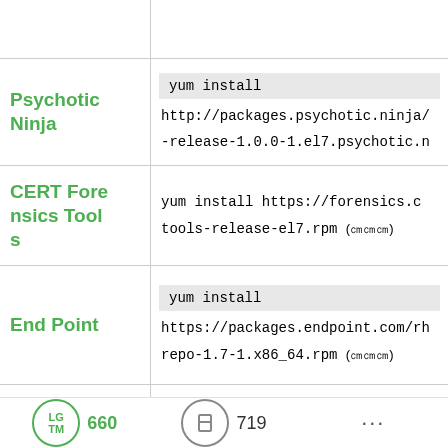| Repository | Install Command |
| --- | --- |
| Psychotic Ninja | yum install http://packages.psychotic.ninja/ -release-1.0.0-1.el7.psychotic.n |
| CERT Forensics Tools | yum install https://forensics.c tools-release-el7.rpm (㎝㎝㎝) |
| End Point | yum install https://packages.endpoint.com/rh repo-1.7-1.x86_64.rpm (㎝㎝㎝) |
| Ghettoforg | yum install http://mirror.symnds.com/distrib |
LGTM 660  719  ...